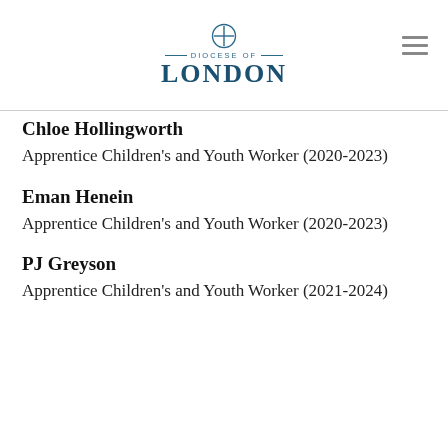Diocese of London
Chloe Hollingworth
Apprentice Children's and Youth Worker (2020-2023)
Eman Henein
Apprentice Children's and Youth Worker (2020-2023)
PJ Greyson
Apprentice Children's and Youth Worker (2021-2024)